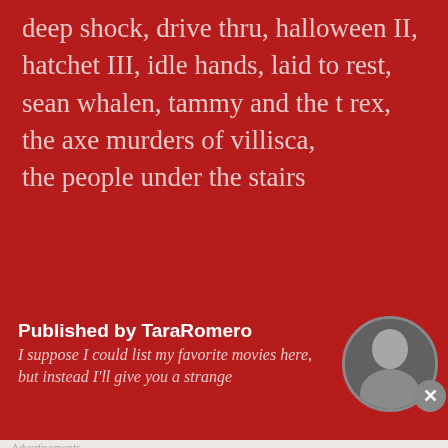deep shock, drive thru, halloween II, hatchet III, idle hands, laid to rest, sean whalen, tammy and the t rex, the axe murders of villisca, the people under the stairs
Published by TaraRomero
I suppose I could list my favorite movies here, but instead I'll give you a strange
[Figure (photo): Circular avatar photo of a person with light hair, black and white]
Advertisements
[Figure (infographic): DuckDuckGo advertisement: Search, browse, and email with more privacy. All in One Free App. Shows phone with DuckDuckGo logo.]